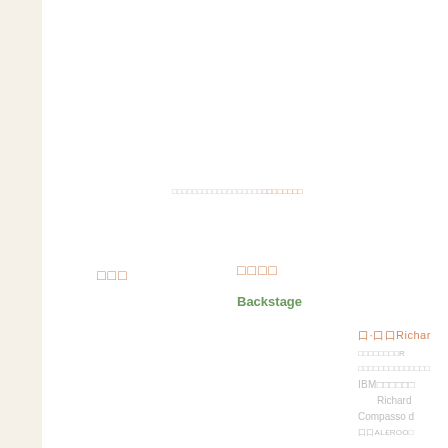□□□□□□□□□□□□□□□□□□□□□□□□□□
□□□
□□□□
Backstage
口·口口Richard
□□□□□□□□R
□□□□□□□□□□□□□□
IBM□□□□□□
Richard
Compasso d
口口AL£ROO□